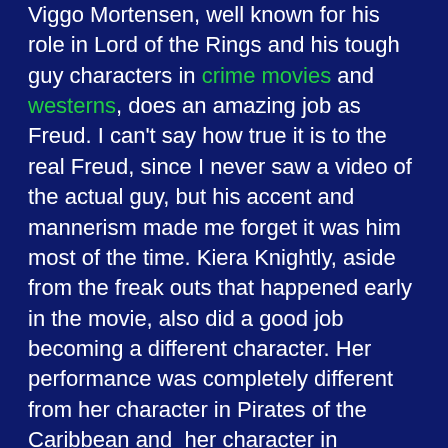Viggo Mortensen, well known for his role in Lord of the Rings and his tough guy characters in crime movies and westerns, does an amazing job as Freud. I can't say how true it is to the real Freud, since I never saw a video of the actual guy, but his accent and mannerism made me forget it was him most of the time. Kiera Knightly, aside from the freak outs that happened early in the movie, also did a good job becoming a different character. Her performance was completely different from her character in Pirates of the Caribbean and her character in Domino. Michael Fassbender did a good job too, but before I checked the actors on IMDB I thought it was the best acting job Ewen McGregor had ever done.
Overall, the movie didn't do much for me. The ending just sort of sits there like the last roll in the basket waiting for someone to pick it up. There's an epilogue which seems to tell a more interesting story than the movie itself. So I have to say that despite the great